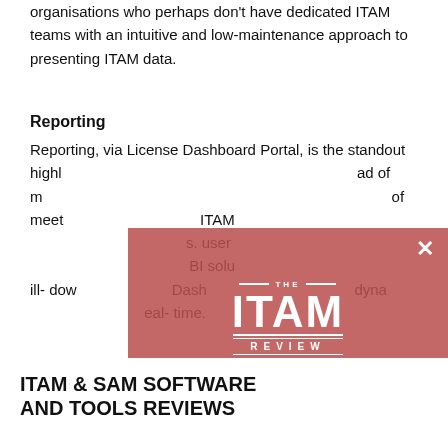organisations who perhaps don't have dedicated ITAM teams with an intuitive and low-maintenance approach to presenting ITAM data.
Reporting
Reporting, via License Dashboard Portal, is the standout highlight of this product. It is able to provide a broad of meeting the needs of a wide range of ITAM use cases. ITAM professionals will find all the compliance reports users need. It also connects to Power BI solutions for reporting, and has drill-down capabilities. Dashboard Portal presents dynamic visualisations in real-time.
Accessible reports can be exported to various file formats. For example, reports can be tailored to C-Suite stakeholders and provide high-level management overviews.
[Figure (logo): The ITAM Review Marketplace logo overlay on a reddish-pink background image showing hands writing]
ITAM & SAM SOFTWARE AND TOOLS REVIEWS